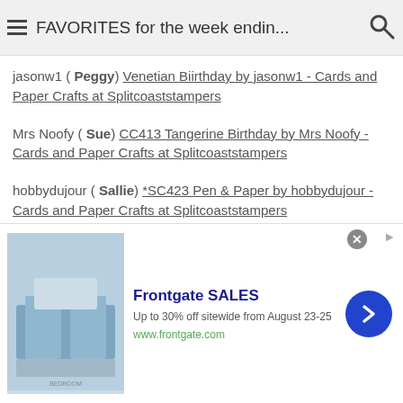FAVORITES for the week endin...
jasonw1 ( Peggy) Venetian Biirthday by jasonw1 - Cards and Paper Crafts at Splitcoaststampers
Mrs Noofy ( Sue) CC413 Tangerine Birthday by Mrs Noofy - Cards and Paper Crafts at Splitcoaststampers
hobbydujour ( Sallie) *SC423 Pen & Paper by hobbydujour - Cards and Paper Crafts at Splitcoaststampers
bfinlay ( Bridget) F4A156 Happy Colours by bfinlay - Cards and Paper Crafts at Splitcoaststampers
lisa lara ( Lisa) F4A156 ALL MY PEEPS by lisa lara - Cards and Paper Crafts at Splitcoaststampers
[Figure (screenshot): Advertisement banner for Frontgate SALES - Up to 30% off sitewide from August 23-25, www.frontgate.com]